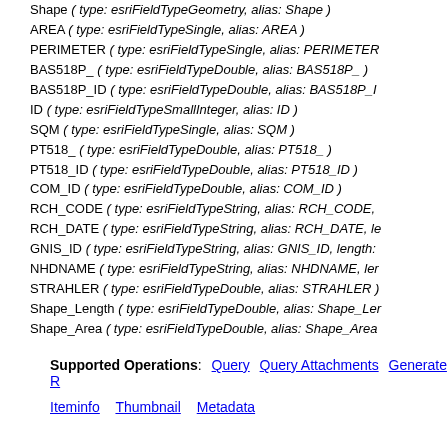Shape ( type: esriFieldTypeGeometry, alias: Shape )
AREA ( type: esriFieldTypeSingle, alias: AREA )
PERIMETER ( type: esriFieldTypeSingle, alias: PERIMETER
BAS518P_ ( type: esriFieldTypeDouble, alias: BAS518P_ )
BAS518P_ID ( type: esriFieldTypeDouble, alias: BAS518P_I
ID ( type: esriFieldTypeSmallInteger, alias: ID )
SQM ( type: esriFieldTypeSingle, alias: SQM )
PT518_ ( type: esriFieldTypeDouble, alias: PT518_ )
PT518_ID ( type: esriFieldTypeDouble, alias: PT518_ID )
COM_ID ( type: esriFieldTypeDouble, alias: COM_ID )
RCH_CODE ( type: esriFieldTypeString, alias: RCH_CODE,
RCH_DATE ( type: esriFieldTypeString, alias: RCH_DATE, le
GNIS_ID ( type: esriFieldTypeString, alias: GNIS_ID, length:
NHDNAME ( type: esriFieldTypeString, alias: NHDNAME, ler
STRAHLER ( type: esriFieldTypeDouble, alias: STRAHLER )
Shape_Length ( type: esriFieldTypeDouble, alias: Shape_Ler
Shape_Area ( type: esriFieldTypeDouble, alias: Shape_Area
Supported Operations: Query   Query Attachments   Generate R
Iteminfo   Thumbnail   Metadata